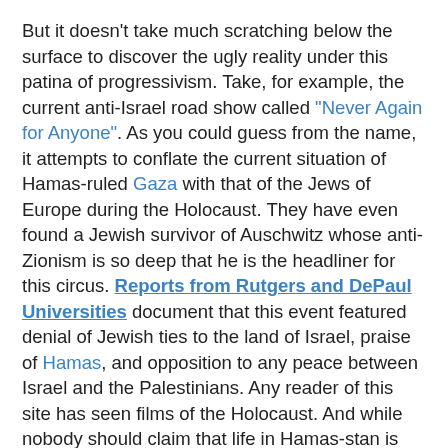But it doesn't take much scratching below the surface to discover the ugly reality under this patina of progressivism. Take, for example, the current anti-Israel road show called "Never Again for Anyone". As you could guess from the name, it attempts to conflate the current situation of Hamas-ruled Gaza with that of the Jews of Europe during the Holocaust. They have even found a Jewish survivor of Auschwitz whose anti-Zionism is so deep that he is the headliner for this circus. Reports from Rutgers and DePaul Universities document that this event featured denial of Jewish ties to the land of Israel, praise of Hamas, and opposition to any peace between Israel and the Palestinians. Any reader of this site has seen films of the Holocaust. And while nobody should claim that life in Hamas-stan is peaceful and easy, we also keep hearing from the extremists that Hamas was the democratically elected government of the Palestinians. So perhaps those who voted Hamas have discovered that their choices have consequences. After all, Hamas' platform is jihad against Israel, now and forever. And Israel has the right to take steps, such as a naval blockade, to prevent Hamas from freely importing long range rockets